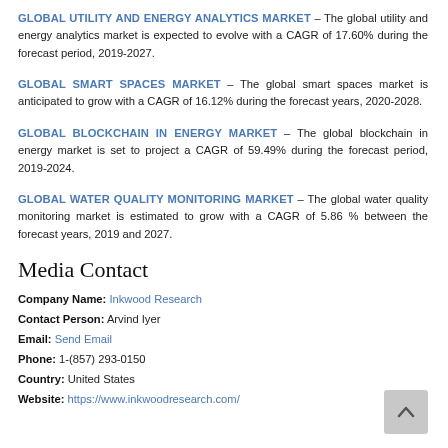GLOBAL UTILITY AND ENERGY ANALYTICS MARKET – The global utility and energy analytics market is expected to evolve with a CAGR of 17.60% during the forecast period, 2019-2027.
GLOBAL SMART SPACES MARKET – The global smart spaces market is anticipated to grow with a CAGR of 16.12% during the forecast years, 2020-2028.
GLOBAL BLOCKCHAIN IN ENERGY MARKET – The global blockchain in energy market is set to project a CAGR of 59.49% during the forecast period, 2019-2024.
GLOBAL WATER QUALITY MONITORING MARKET – The global water quality monitoring market is estimated to grow with a CAGR of 5.86 % between the forecast years, 2019 and 2027.
Media Contact
Company Name: Inkwood Research
Contact Person: Arvind Iyer
Email: Send Email
Phone: 1-(857) 293-0150
Country: United States
Website: https://www.inkwoodresearch.com/